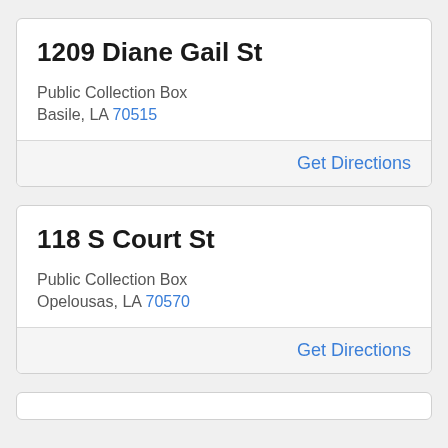1209 Diane Gail St
Public Collection Box
Basile, LA 70515
Get Directions
118 S Court St
Public Collection Box
Opelousas, LA 70570
Get Directions